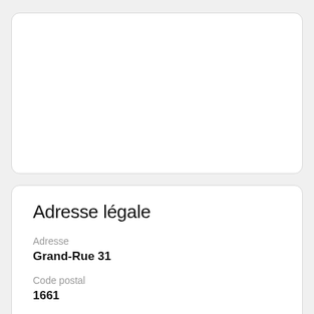Adresse légale
Adresse
Grand-Rue 31
Code postal
1661
Ville/paroisse